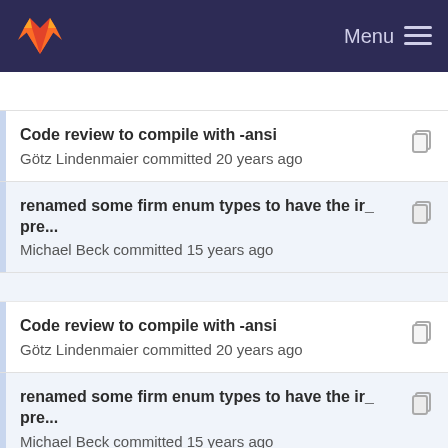GitLab — Menu
Code review to compile with -ansi
Götz Lindenmaier committed 20 years ago
renamed some firm enum types to have the ir_ pre...
Michael Beck committed 15 years ago
Code review to compile with -ansi
Götz Lindenmaier committed 20 years ago
renamed some firm enum types to have the ir_ pre...
Michael Beck committed 15 years ago
Code review to compile with -ansi
Götz Lindenmaier committed 20 years ago
Imprint